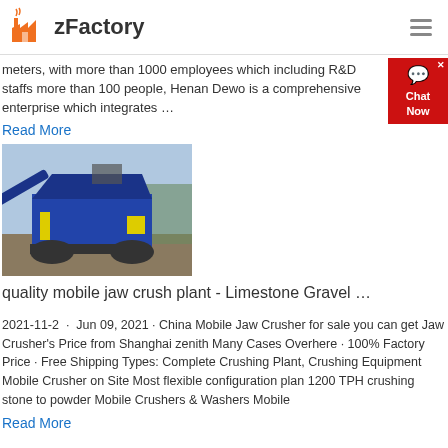zFactory
meters, with more than 1000 employees which including R&D staffs more than 100 people, Henan Dewo is a comprehensive enterprise which integrates …
Read More
[Figure (photo): Photo of a blue mobile jaw crusher plant on tracks at a construction/quarry site]
quality mobile jaw crush plant - Limestone Gravel …
2021-11-2  ·  Jun 09, 2021 · China Mobile Jaw Crusher for sale you can get Jaw Crusher's Price from Shanghai zenith Many Cases Overhere · 100% Factory Price · Free Shipping Types: Complete Crushing Plant, Crushing Equipment Mobile Crusher on Site Most flexible configuration plan 1200 TPH crushing stone to powder Mobile Crushers & Washers Mobile
Read More